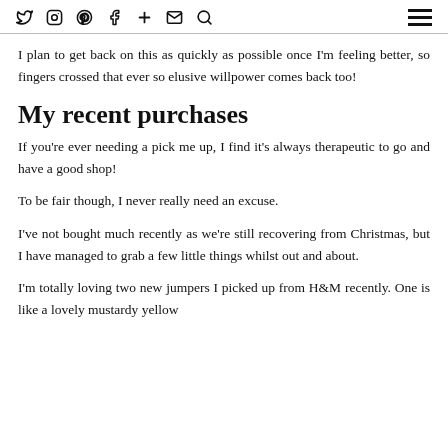social media icons and hamburger menu
I plan to get back on this as quickly as possible once I'm feeling better, so fingers crossed that ever so elusive willpower comes back too!
My recent purchases
If you're ever needing a pick me up, I find it's always therapeutic to go and have a good shop!
To be fair though, I never really need an excuse.
I've not bought much recently as we're still recovering from Christmas, but I have managed to grab a few little things whilst out and about.
I'm totally loving two new jumpers I picked up from H&M recently. One is like a lovely mustardy yellow